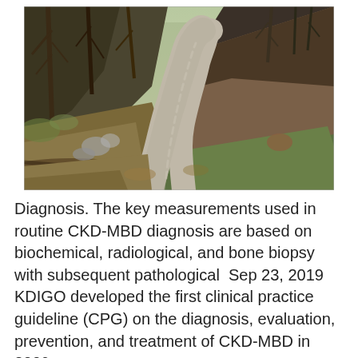[Figure (photo): A winding dirt/gravel road curving through a forest and hilly terrain with bare trees, green moss, and fallen leaves along the slopes.]
Diagnosis. The key measurements used in routine CKD-MBD diagnosis are based on biochemical, radiological, and bone biopsy with subsequent pathological  Sep 23, 2019 KDIGO developed the first clinical practice guideline (CPG) on the diagnosis, evaluation, prevention, and treatment of CKD-MBD in 2009.